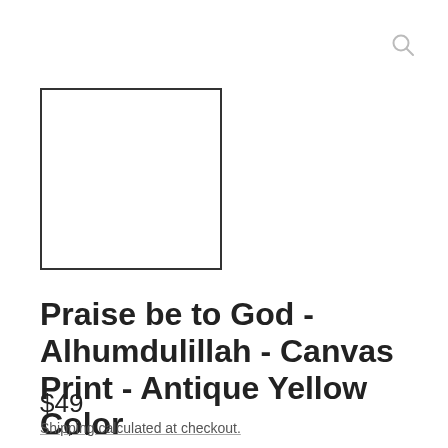[Figure (other): Search icon (magnifying glass) in top right corner]
[Figure (other): Product image placeholder: empty white square with dark border]
Praise be to God - Alhumdulillah - Canvas Print - Antique Yellow Color
$49
Shipping calculated at checkout.